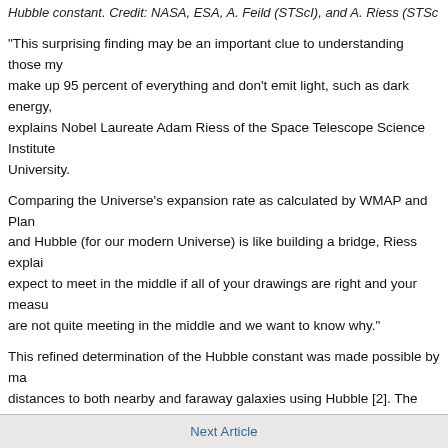Hubble constant. Credit: NASA, ESA, A. Feild (STScI), and A. Riess (STScI)
"This surprising finding may be an important clue to understanding those mysteries that make up 95 percent of everything and don't emit light, such as dark energy," explains Nobel Laureate Adam Riess of the Space Telescope Science Institute and Johns Hopkins University.
Comparing the Universe's expansion rate as calculated by WMAP and Planck (for the early Universe) and Hubble (for our modern Universe) is like building a bridge, Riess explains. "You expect to meet in the middle if all of your drawings are right and your measurements are right. They are not quite meeting in the middle and we want to know why."
This refined determination of the Hubble constant was made possible by making precise distance measurements to both nearby and faraway galaxies using Hubble [2]. The improvements were made by streamlining and strengthening the cosmic distance ladder, which allows astronomers to measure accurate distances to galaxies. The team compared these measured distances to the expansion of space measured by the stretching of light from receding galaxies and these two values were used to calculate the Hubble constant.
source: ESA/Hubble Information Centre
Next Article